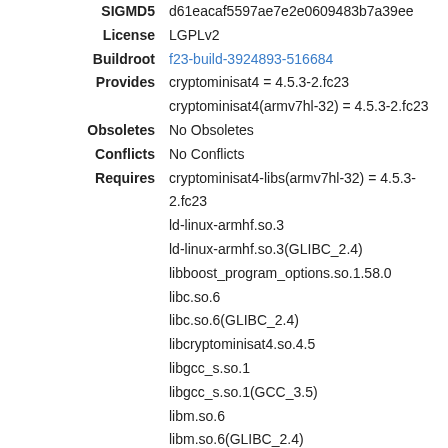SIGMD5: d61eacaf5597ae7e2e0609483b7a39ee
License: LGPLv2
Buildroot: f23-build-3924893-516684
Provides: cryptominisat4 = 4.5.3-2.fc23
cryptominisat4(armv7hl-32) = 4.5.3-2.fc23
Obsoletes: No Obsoletes
Conflicts: No Conflicts
Requires: cryptominisat4-libs(armv7hl-32) = 4.5.3-2.fc23
ld-linux-armhf.so.3
ld-linux-armhf.so.3(GLIBC_2.4)
libboost_program_options.so.1.58.0
libc.so.6
libc.so.6(GLIBC_2.4)
libcryptominisat4.so.4.5
libgcc_s.so.1
libgcc_s.so.1(GCC_3.5)
libm.so.6
libm.so.6(GLIBC_2.4)
libm4ri-0.0.20140914.so
libpthread.so.0